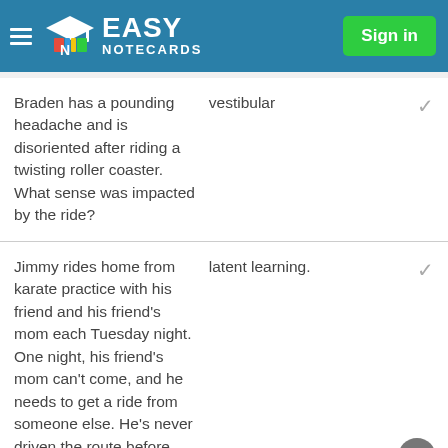Easy Notecards — Sign in
| Question | Answer |
| --- | --- |
| Braden has a pounding headache and is disoriented after riding a twisting roller coaster. What sense was impacted by the ride? | vestibular |
| Jimmy rides home from karate practice with his friend and his friend's mom each Tuesday night. One night, his friend's mom can't come, and he needs to get a ride from someone else. He's never driven the route before, but he's able | latent learning. |